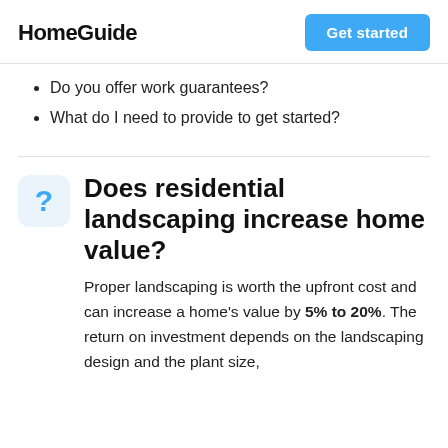HomeGuide | Get started
Do you offer work guarantees?
What do I need to provide to get started?
Does residential landscaping increase home value?
Proper landscaping is worth the upfront cost and can increase a home's value by 5% to 20%. The return on investment depends on the landscaping design and the plant size,